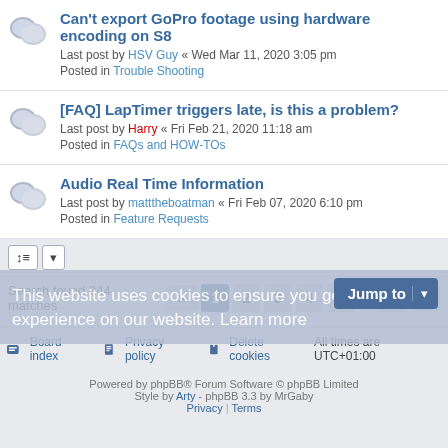Can't export GoPro footage using hardware encoding on S8 — Last post by HSV Guy « Wed Mar 11, 2020 3:05 pm — Posted in Trouble Shooting
[FAQ] LapTimer triggers late, is this a problem? — Last post by Harry « Fri Feb 21, 2020 11:18 am — Posted in FAQs and HOW-TOs
Audio Real Time Information — Last post by matttheboatman « Fri Feb 07, 2020 6:10 pm — Posted in Feature Requests
Search found 244 matches — pagination: 1 2 3 4 5 ... 10 >
This website uses cookies to ensure you get the best experience on our website. Learn more
Board index | Privacy policy | Delete cookies — All times are UTC+01:00
Powered by phpBB® Forum Software © phpBB Limited — Style by Arty - phpBB 3.3 by MrGaby — Privacy | Terms